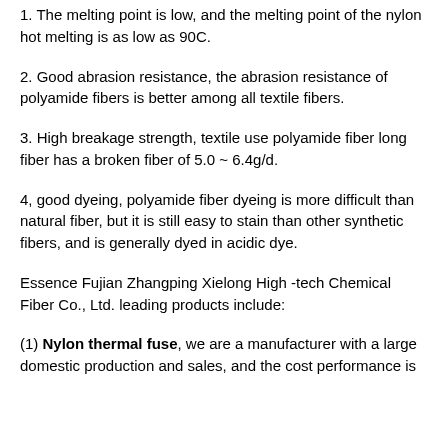1. The melting point is low, and the melting point of the nylon hot melting is as low as 90C.
2. Good abrasion resistance, the abrasion resistance of polyamide fibers is better among all textile fibers.
3. High breakage strength, textile use polyamide fiber long fiber has a broken fiber of 5.0 ~ 6.4g/d.
4, good dyeing, polyamide fiber dyeing is more difficult than natural fiber, but it is still easy to stain than other synthetic fibers, and is generally dyed in acidic dye.
Essence Fujian Zhangping Xielong High -tech Chemical Fiber Co., Ltd. leading products include:
(1) Nylon thermal fuse, we are a manufacturer with a large domestic production and sales, and the cost performance is